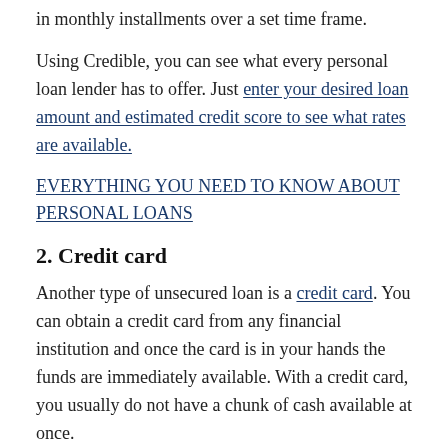in monthly installments over a set time frame.
Using Credible, you can see what every personal loan lender has to offer. Just enter your desired loan amount and estimated credit score to see what rates are available.
EVERYTHING YOU NEED TO KNOW ABOUT PERSONAL LOANS
2. Credit card
Another type of unsecured loan is a credit card. You can obtain a credit card from any financial institution and once the card is in your hands the funds are immediately available. With a credit card, you usually do not have a chunk of cash available at once.
Instead, you use the card to pay for purchases and a